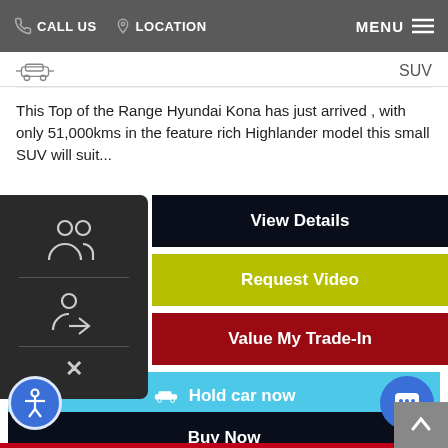CALL US   LOCATION   MENU
SUV
This Top of the Range Hyundai Kona has just arrived , with only 51,000kms in the feature rich Highlander model this small SUV will suit...
View Details
Request Video
Value My Trade-In
Hold car now
Buy Now